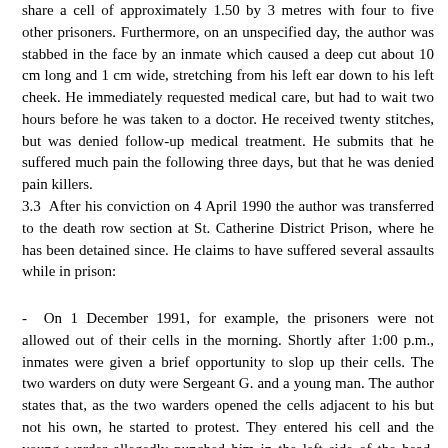share a cell of approximately 1.50 by 3 metres with four to five other prisoners. Furthermore, on an unspecified day, the author was stabbed in the face by an inmate which caused a deep cut about 10 cm long and 1 cm wide, stretching from his left ear down to his left cheek. He immediately requested medical care, but had to wait two hours before he was taken to a doctor. He received twenty stitches, but was denied follow-up medical treatment. He submits that he suffered much pain the following three days, but that he was denied pain killers.
3.3 After his conviction on 4 April 1990 the author was transferred to the death row section at St. Catherine District Prison, where he has been detained since. He claims to have suffered several assaults while in prison:
- On 1 December 1991, for example, the prisoners were not allowed out of their cells in the morning. Shortly after 1:00 p.m., inmates were given a brief opportunity to slop up their cells. The two warders on duty were Sergeant G. and a young man. The author states that, as the two warders opened the cells adjacent to his but not his own, he started to protest. They entered his cell and the young warder allegedly punched him in the left side of the head. Both warders then proceeded to kick and hit him with their batons on his back, chest, arms, legs and knees for approximately two minutes. The author submits that he